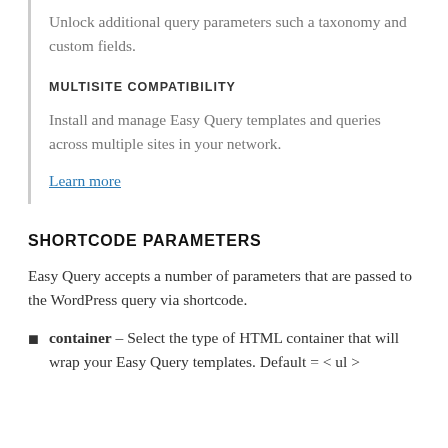Unlock additional query parameters such a taxonomy and custom fields.
MULTISITE COMPATIBILITY
Install and manage Easy Query templates and queries across multiple sites in your network.
Learn more
SHORTCODE PARAMETERS
Easy Query accepts a number of parameters that are passed to the WordPress query via shortcode.
container – Select the type of HTML container that will wrap your Easy Query templates. Default = < ul >